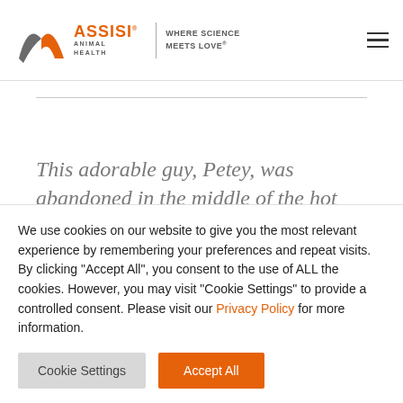[Figure (logo): Assisi Animal Health logo with orange and grey lambda/arrow icon, text 'ASSISI ANIMAL HEALTH' and tagline 'WHERE SCIENCE MEETS LOVE']
This adorable guy, Petey, was abandoned in the middle of the hot July summer in
We use cookies on our website to give you the most relevant experience by remembering your preferences and repeat visits. By clicking "Accept All", you consent to the use of ALL the cookies. However, you may visit "Cookie Settings" to provide a controlled consent. Please visit our Privacy Policy for more information.